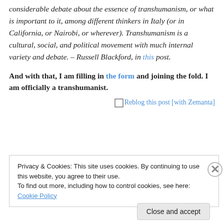considerable debate about the essence of transhumanism, or what is important to it, among different thinkers in Italy (or in California, or Nairobi, or wherever). Transhumanism is a cultural, social, and political movement with much internal variety and debate. – Russell Blackford, in this post.
And with that, I am filling in the form and joining the fold. I am officially a transhumanist.
[Figure (other): Reblog this post [with Zemanta] button/link with small icon]
Privacy & Cookies: This site uses cookies. By continuing to use this website, you agree to their use. To find out more, including how to control cookies, see here: Cookie Policy
Close and accept